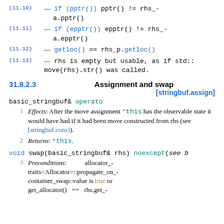(11.10) — if (pptr()) pptr() != rhs_-a.pptr()
(11.11) — if (epptr()) epptr() != rhs_-a.epptr()
(11.12) — getloc() == rhs_p.getloc()
(11.13) — rhs is empty but usable, as if std::move(rhs).str() was called.
31.8.2.3 Assignment and swap [stringbuf.assign]
basic_stringbuf& operato
1 Effects: After the move assignment *this has the observable state it would have had if it had been move constructed from rhs (see [stringbuf.cons]).
2 Returns: *this.
void swap(basic_stringbuf& rhs) noexcept(see b
3 Preconditions: allocator_-traits<Allocator>::propagate_on_-container_swap::value is true or get_allocator() == rhs.get_-